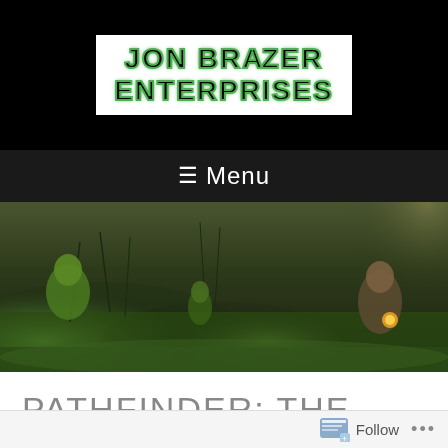[Figure (logo): Jon Brazer Enterprises logo in white box with green glowing text on black background]
≡ Menu
[Figure (illustration): Fantasy illustration showing figures in a green misty swamp/field with glowing lights, dark atmospheric scene]
PATHFINDER: THE SKINWALKER RACE
Posted on November 9, 2015 By Dale McCoy
Comment
Follow ...